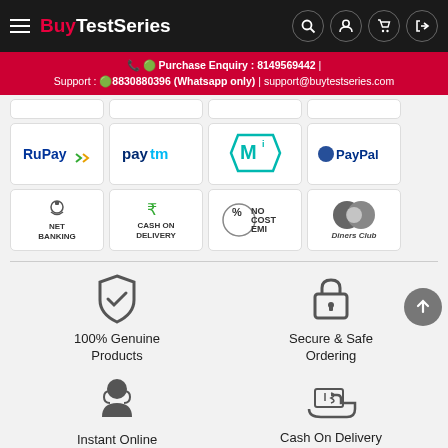BuyTestSeries
Purchase Enquiry : 8149569442 | Support : 8830880396 (Whatsapp only) | support@buytestseries.com
[Figure (other): Payment method logos grid: RuPay, Paytm, MobiKwik, PayPal, Net Banking, Cash On Delivery, No Cost EMI, Diners Club]
[Figure (infographic): Four feature icons: 100% Genuine Products (shield icon), Secure & Safe Ordering (lock icon), Instant Online Support (person/headset icon), Cash On Delivery Available (hand with cash icon)]